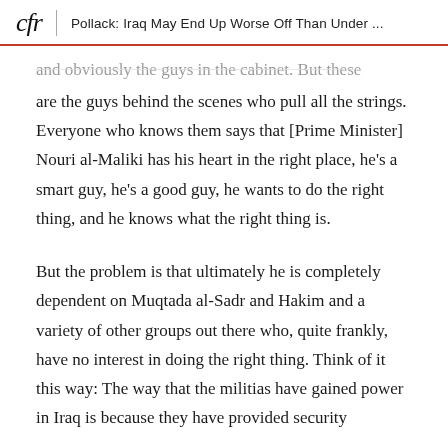cfr | Pollack: Iraq May End Up Worse Off Than Under ...
are the guys behind the scenes who pull all the strings. Everyone who knows them says that [Prime Minister] Nouri al-Maliki has his heart in the right place, he's a smart guy, he's a good guy, he wants to do the right thing, and he knows what the right thing is.
But the problem is that ultimately he is completely dependent on Muqtada al-Sadr and Hakim and a variety of other groups out there who, quite frankly, have no interest in doing the right thing. Think of it this way: The way that the militias have gained power in Iraq is because they have provided security